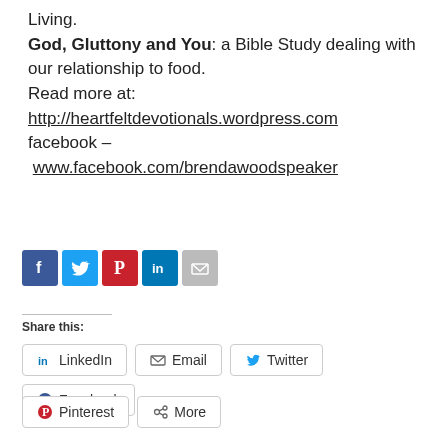Living.
God, Gluttony and You: a Bible Study dealing with our relationship to food.
Read more at:
http://heartfeltdevotionals.wordpress.com
facebook – www.facebook.com/brendawoodspeaker
[Figure (infographic): Social media sharing icons: Facebook (blue), Twitter (light blue), Pinterest (red), LinkedIn (blue), Email (gray)]
Share this:
LinkedIn  Email  Twitter  Facebook  Pinterest  More